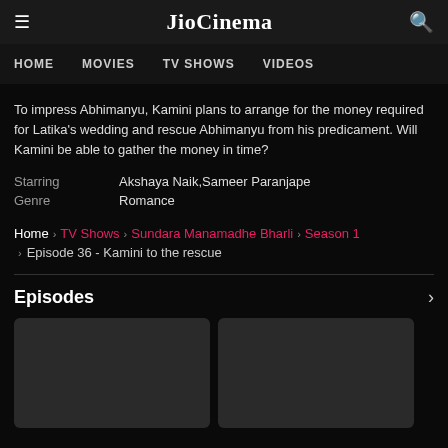JioCinema
HOME   MOVIES   TV SHOWS   VIDEOS
To impress Abhimanyu, Kamini plans to arrange for the money required for Latika's wedding and rescue Abhimanyu from his predicament. Will Kamini be able to gather the money in time?
Starring: Akshaya Naik,Sameer Paranjape
Genre: Romance
Home > TV Shows > Sundara Manamadhe Bharli > Season 1 > Episode 36 - Kamini to the rescue
Episodes
[Figure (other): Two dark thumbnail placeholders for episode videos]